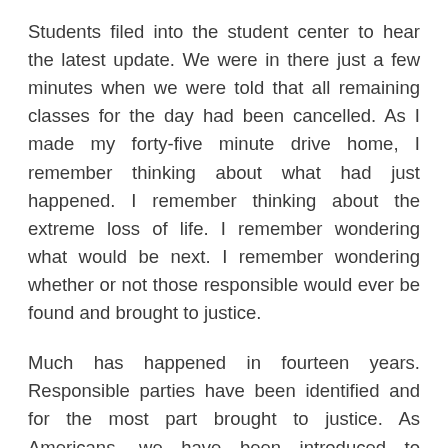Students filed into the student center to hear the latest update. We were in there just a few minutes when we were told that all remaining classes for the day had been cancelled. As I made my forty-five minute drive home, I remember thinking about what had just happened. I remember thinking about the extreme loss of life. I remember wondering what would be next. I remember wondering whether or not those responsible would ever be found and brought to justice.
Much has happened in fourteen years. Responsible parties have been identified and for the most part brought to justice. As Americans, we have been introduced to phrases that we may have previously left for most to sit